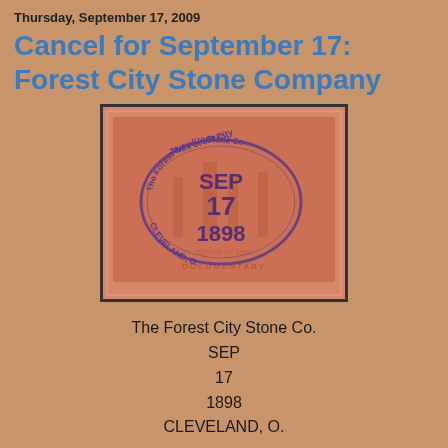Thursday, September 17, 2009
Cancel for September 17: Forest City Stone Company
[Figure (photo): A red/orange revenue stamp with a blue/purple oval cancellation mark reading 'The Forest City Stone Co.' around the outside and 'SEP 17 1898 CLEVELAND, O.' in the center. The stamp shows a building and reads 'SERIES OF 1898' and 'DOCUMENTARY' at the bottom.]
The Forest City Stone Co.
SEP
17
1898
CLEVELAND, O.